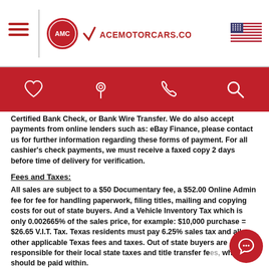AceMotorCars.com navigation header
Certified Bank Check, or Bank Wire Transfer. We do also accept payments from online lenders such as: eBay Finance, please contact us for further information regarding these forms of payment. For all cashier's check payments, we must receive a faxed copy 2 days before time of delivery for verification.
Fees and Taxes:
All sales are subject to a $50 Documentary fee, a $52.00 Online Admin fee for fee for handling paperwork, filing titles, mailing and copying costs for out of state buyers. And a Vehicle Inventory Tax which is only 0.002665% of the sales price, for example: $10,000 purchase = $26.65 V.I.T. Tax. Texas residents must pay 6.25% sales tax and all other applicable Texas fees and taxes. Out of state buyers are responsible for their local state taxes and title transfer fees, which should be paid within.
UPDATES